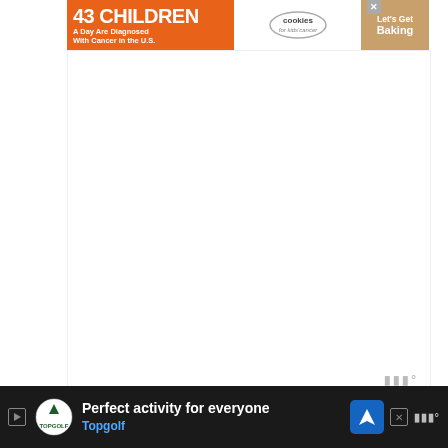[Figure (infographic): Advertisement banner: '43 CHILDREN A Day Are Diagnosed With Cancer in the U.S.' with cookies for kids' cancer logo and 'Let's Get Baking' call to action on orange/white/tan background]
[Figure (infographic): Large white/blank content area with Mediavine watermark logo in bottom right corner]
The LT is used to signify a particular vehicle,
[Figure (infographic): Bottom advertisement bar: Topgolf 'Perfect activity for everyone' ad with navigation icon, on dark background]